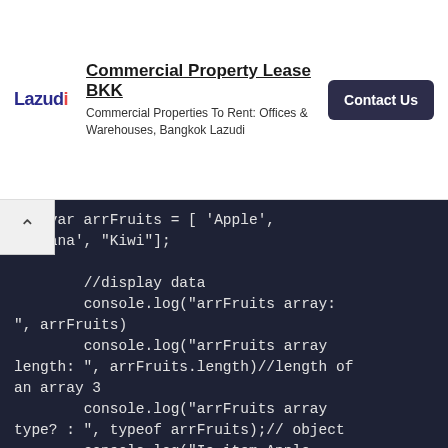[Figure (screenshot): Advertisement banner for Lazudi Commercial Property Lease BKK with logo, title, subtitle, and Contact Us button]
var arrFruits = [ 'Apple', 'Banana', 'Kiwi'];

        //display data
        console.log("arrFruits array: ", arrFruits)
        console.log("arrFruits array length: ", arrFruits.length)//length of an array 3
        console.log("arrFruits array type? : ", typeof arrFruits);// object
        console.log("Is item Apple exists in arrFruits array : ", arrFruits.includes("Apple"));// true
        console.log("Is item Mango exists in arrFruits array  : ", arrFruits.includes("Mango"));// false